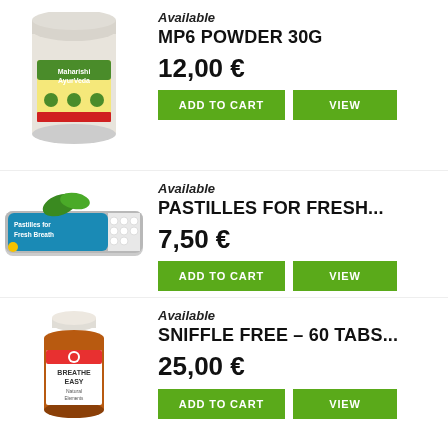[Figure (photo): White cylindrical powder container with green and yellow label (Maharishi AyurVeda MP6 Powder 30g)]
Available
MP6 POWDER 30G
12,00 €
ADD TO CART
VIEW
[Figure (photo): Flat tin box with white pastilles and green leaves, labeled Pastilles for Fresh Breath]
Available
PASTILLES FOR FRESH...
7,50 €
ADD TO CART
VIEW
[Figure (photo): Small amber glass bottle labeled Breathe Easy, Natural Elements brand]
Available
SNIFFLE FREE – 60 TABS...
25,00 €